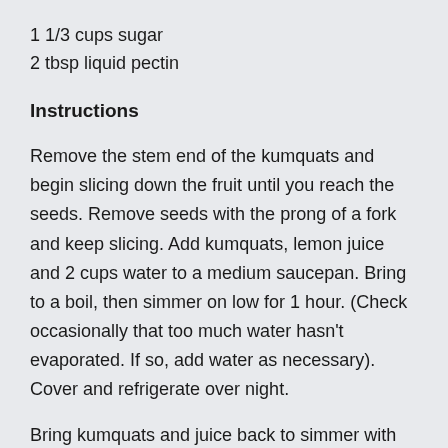1 1/3 cups sugar
2 tbsp liquid pectin
Instructions
Remove the stem end of the kumquats and begin slicing down the fruit until you reach the seeds. Remove seeds with the prong of a fork and keep slicing. Add kumquats, lemon juice and 2 cups water to a medium saucepan. Bring to a boil, then simmer on low for 1 hour. (Check occasionally that too much water hasn't evaporated. If so, add water as necessary). Cover and refrigerate over night.
Bring kumquats and juice back to simmer with sugar and pectin. Check for consistency by spooning a small amount on to a plate you previously chilled in the freezer. If the marmalade wrinkles slightly as you push it, it is set. You can now bottle and refrigerate your marmalade. Enjoy!